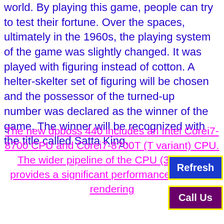world. By playing this game, people can try to test their fortune. Over the spaces, ultimately in the 1960s, the playing system of the game was slightly changed. It was played with figuring instead of cotton. A helter-skelter set of figuring will be chosen and the possessor of the turned-up number was declared as the winner of the game. The winner will be recognized with the title called Satta King.
The new dpboss 440 includes an Intel Corei7-8700 CPU and Corei7-8700T (T variant) CPU. The wider pipeline of the CPU (32 vs 14) provides a significant performance boost for rendering